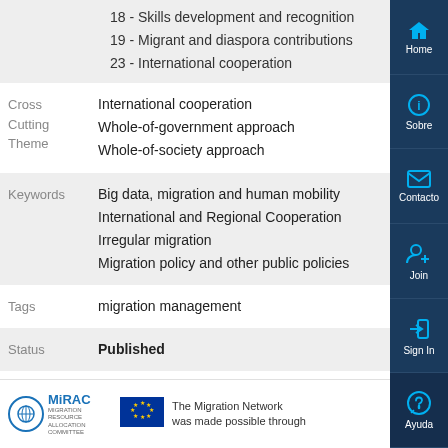18 - Skills development and recognition
19 - Migrant and diaspora contributions
23 - International cooperation
Cross Cutting Theme
International cooperation
Whole-of-government approach
Whole-of-society approach
Keywords
Big data, migration and human mobility
International and Regional Cooperation
Irregular migration
Migration policy and other public policies
Tags
migration management
Status
Published
The Migration Network was made possible through